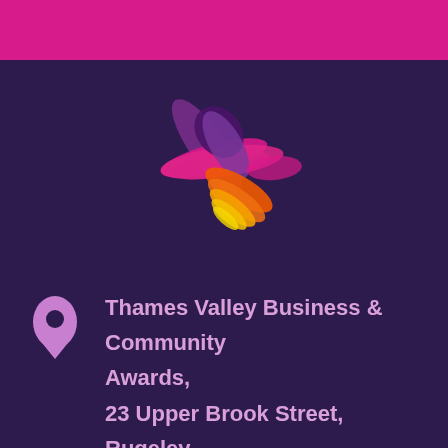[Figure (logo): Pink horizontal bar at the top of the page]
[Figure (logo): Colorful hand-drawn star logo with purple, pink, magenta, orange and yellow brush strokes on a dark purple background]
Thames Valley Business & Community Awards, 23 Upper Brook Street, Rugeley,